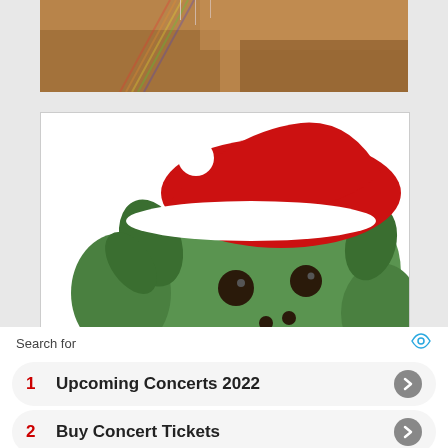[Figure (photo): Top partial photo showing what appears to be a reflective surface with a rainbow light effect and warm brown tones]
[Figure (photo): A green Grinch-style toy figurine wearing a red Santa hat with white trim and a white pompom, holding a red and white candy cane. The character has dark eyes and a mischievous expression.]
Search for
1  Upcoming Concerts 2022
2  Buy Concert Tickets
Yahoo! Search | Sponsored